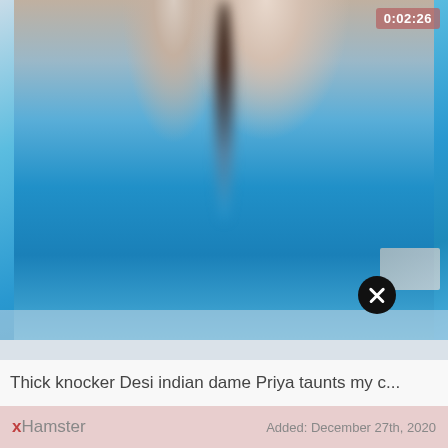[Figure (screenshot): Video thumbnail showing a close-up blurred image with blue background and skin tones, with a duration badge '0:02:26' in the top right corner and a close/X button overlay at the bottom right]
Thick knocker Desi indian dame Priya taunts my c...
xHamster   Added: December 27th, 2020